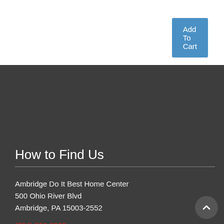[Figure (other): Add To Cart button in blue at the top right]
How to Find Us
Ambridge Do It Best Home Center
500 Ohio River Blvd
Ambridge, PA 15003-2552
(724) 266-9595
Subscribe
Stay Informed